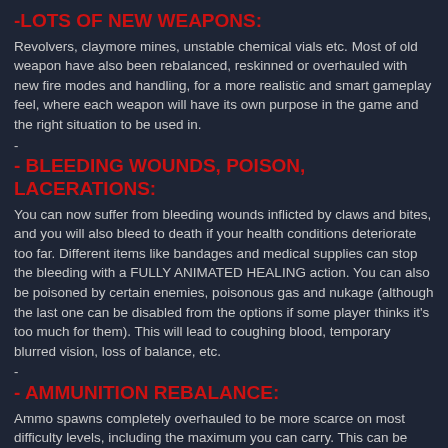-LOTS OF NEW WEAPONS:
Revolvers, claymore mines, unstable chemical vials etc. Most of old weapon have also been rebalanced, reskinned or overhauled with new fire modes and handling, for a more realistic and smart gameplay feel, where each weapon will have its own purpose in the game and the right situation to be used in.
-
- BLEEDING WOUNDS, POISON, LACERATIONS:
You can now suffer from bleeding wounds inflicted by claws and bites, and you will also bleed to death if your health conditions deteriorate too far. Different items like bandages and medical supplies can stop the bleeding with a FULLY ANIMATED HEALING action. You can also be poisoned by certain enemies, poisonous gas and nukage (although the last one can be disabled from the options if some player thinks it's too much for them). This will lead to coughing blood, temporary blurred vision, loss of balance, etc.
-
- AMMUNITION REBALANCE:
Ammo spawns completely overhauled to be more scarce on most difficulty levels, including the maximum you can carry. This can be adjusted by selected difficulty level.
-
- REBALANCED GAMEPLAY BALANCE